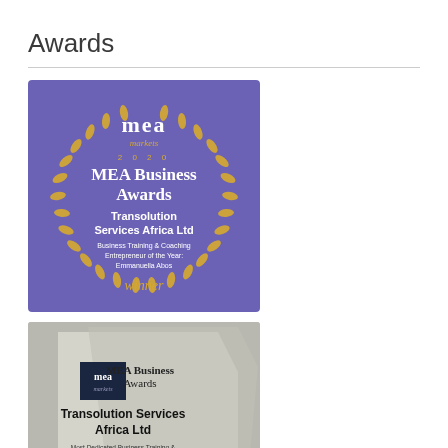Awards
[Figure (photo): MEA Markets 2020 MEA Business Awards winner badge for Transolution Services Africa Ltd — Business Training & Coaching Entrepreneur of the Year: Emmanuella Abos. Purple circular badge with gold laurel wreath and gold 'winner' script.]
[Figure (photo): Physical MEA Business Awards acrylic trophy/plaque for Transolution Services Africa Ltd — Most Dedicated Business Training & Coaching Entrepreneur 2021 — Emmanuella Abos. Photo shows a clear acrylic award with dark navy mea logo and text engraved.]